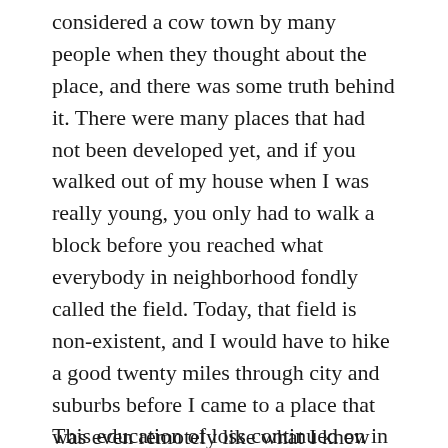considered a cow town by many people when they thought about the place, and there was some truth behind it. There were many places that had not been developed yet, and if you walked out of my house when I was really young, you only had to walk a block before you reached what everybody in neighborhood fondly called the field. Today, that field is non-existent, and I would have to hike a good twenty miles through city and suburbs before I came to a place that was even remotely like what I knew from my childhood. When I was growing up, Denver's economy was based solely on oil, and when the bottom dropped out of that industry, so did the economy of Colorado. People started to move away in droves. Houses were sold way under the buying price, and I had to learn at a very early age how to say goodbye to my friends.
This education of loss continued on in my college